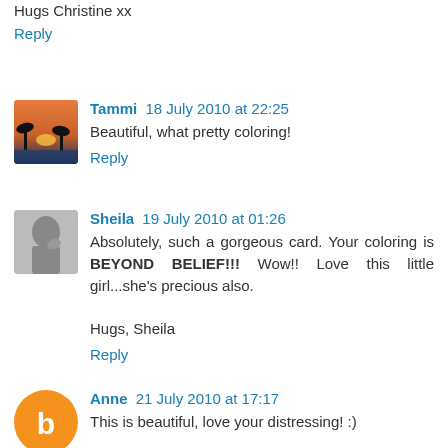Hugs Christine xx
Reply
Tammi 18 July 2010 at 22:25
Beautiful, what pretty coloring!
Reply
Sheila 19 July 2010 at 01:26
Absolutely, such a gorgeous card. Your coloring is BEYOND BELIEF!!! Wow!! Love this little girl...she's precious also.

Hugs, Sheila
Reply
Anne 21 July 2010 at 17:17
This is beautiful, love your distressing! :)